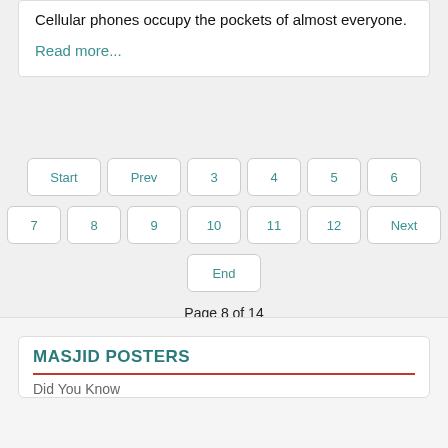Cellular phones occupy the pockets of almost everyone.
Read more...
Start  Prev  3  4  5  6  7  8  9  10  11  12  Next  End
Page 8 of 14
MASJID POSTERS
Did You Know